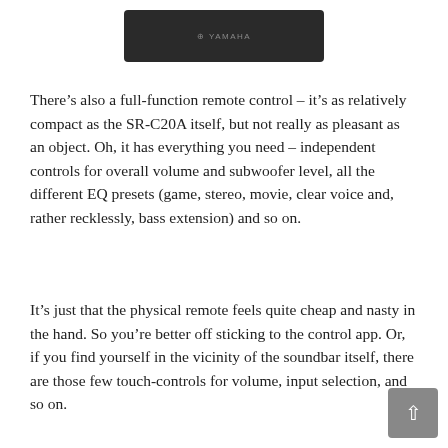[Figure (photo): Partial view of a Yamaha soundbar device (dark/black) shown from above, with the Yamaha logo visible on the top surface.]
There’s also a full-function remote control – it’s as relatively compact as the SR-C20A itself, but not really as pleasant as an object. Oh, it has everything you need – independent controls for overall volume and subwoofer level, all the different EQ presets (game, stereo, movie, clear voice and, rather recklessly, bass extension) and so on.
It’s just that the physical remote feels quite cheap and nasty in the hand. So you’re better off sticking to the control app. Or, if you find yourself in the vicinity of the soundbar itself, there are those few touch-controls for volume, input selection, and so on.